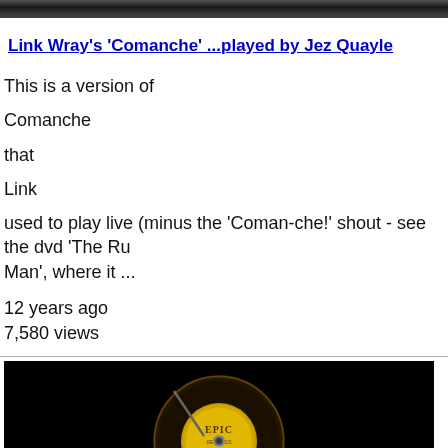[Figure (photo): Dark banner image at the top of the page, appears to be a cropped photo with dark tones]
Link Wray's 'Comanche' ...played by Jez Quayle
This is a version of
Comanche
that
Link
used to play live (minus the 'Coman-che!' shout - see the dvd 'The Ru Man', where it ...
12 years ago
7,580 views
[Figure (screenshot): Video thumbnail showing a vinyl record with an Epic label on a black background, with text 'uploaded in HD @ TunesToTube.com' at the top]